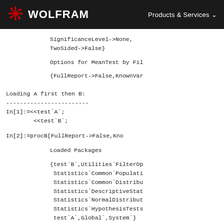WOLFRAM    Products & Services
SignificanceLevel->None,
    TwoSided->False}
Options for MeanTest by Fil
{FullReport->False,KnownVar
Loading A first then B:
------------------------
In[1]:=<<test`A`;
        <<test`B`;
In[2]:=procB[FullReport->False,Kno
Loaded Packages
{test`B`,Utilities`FilterOp
 Statistics`Common`Populati
 Statistics`Common`Distribu
 Statistics`DescriptiveStat
 Statistics`NormalDistribut
 Statistics`HypothesisTests
 test`A`,Global`,System`}
The current context path is